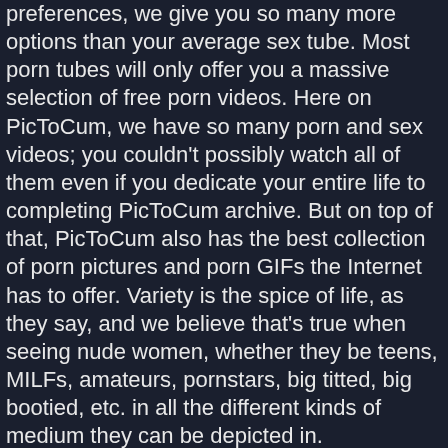preferences, we give you so many more options than your average sex tube. Most porn tubes will only offer you a massive selection of free porn videos. Here on PicToCum, we have so many porn and sex videos; you couldn't possibly watch all of them even if you dedicate your entire life to completing PicToCum archive. But on top of that, PicToCum also has the best collection of porn pictures and porn GIFs the Internet has to offer. Variety is the spice of life, as they say, and we believe that's true when seeing nude women, whether they be teens, MILFs, amateurs, pornstars, big titted, big bootied, etc. in all the different kinds of medium they can be depicted in.
Free HD porn and sex for mobile, tablet and desktop
Streaming free porn videos and GIFs has never been easier. PicToCum has been around since the days of dial-up and we've added loads and loads of content since then.